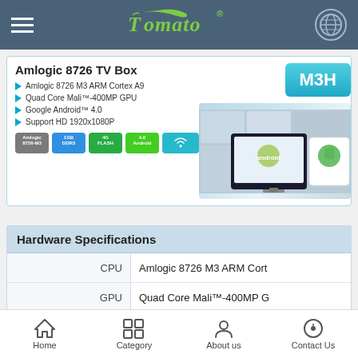Tomato
[Figure (screenshot): Amlogic 8726 TV Box M3H product card with bullet points, icon badges, and product image showing Android TV box with TV screen]
Hardware Specifications
|  |  |
| --- | --- |
| CPU | Amlogic 8726 M3 ARM Cort |
| GPU | Quad Core Mali™-400MP G |
| Flash | 4GB NAND FLASH |
| Memory | 1GB DDR3 |
Power Supply Specifications
Home  Category  About us  Contact Us